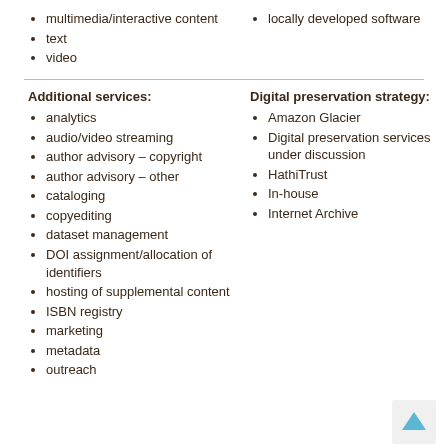multimedia/interactive content
text
video
locally developed software
Additional services:
analytics
audio/video streaming
author advisory – copyright
author advisory – other
cataloging
copyediting
dataset management
DOI assignment/allocation of identifiers
hosting of supplemental content
ISBN registry
marketing
metadata
outreach
Digital preservation strategy:
Amazon Glacier
Digital preservation services under discussion
HathiTrust
In-house
Internet Archive